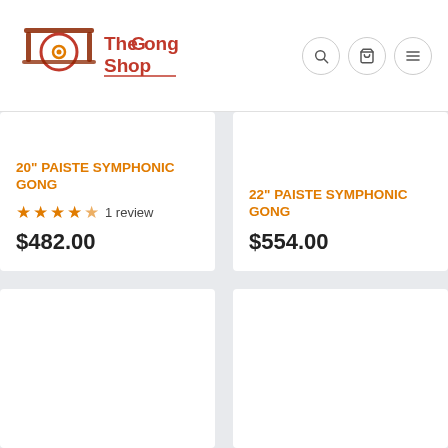[Figure (logo): The Gong Shop logo with stylized gong graphic and text]
20" PAISTE SYMPHONIC GONG
1 review
$482.00
22" PAISTE SYMPHONIC GONG
$554.00